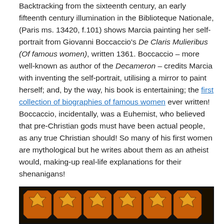Backtracking from the sixteenth century, an early fifteenth century illumination in the Biblioteque Nationale, (Paris ms. 13420, f.101) shows Marcia painting her self-portrait from Giovanni Boccaccio's De Claris Mulieribus (Of famous women), written 1361. Boccaccio – more well-known as author of the Decameron – credits Marcia with inventing the self-portrait, utilising a mirror to paint herself; and, by the way, his book is entertaining; the first collection of biographies of famous women ever written! Boccaccio, incidentally, was a Euhemist, who believed that pre-Christian gods must have been actual people, as any true Christian should! So many of his first women are mythological but he writes about them as an atheist would, making-up real-life explanations for their shenanigans!
[Figure (photo): Decorative ornamental border or textile panel with repeating geometric and floral patterns in orange, black, and brown on a dark background. The pattern shows a row of square cells each containing a stylized star or flower motif.]